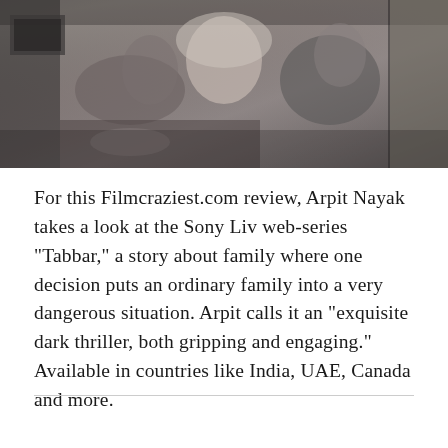[Figure (photo): A dark, moody film still showing three people — a woman in a headscarf in the center with two young men leaning on her, seated in what appears to be a domestic setting with food on a table.]
For this Filmcraziest.com review, Arpit Nayak takes a look at the Sony Liv web-series "Tabbar," a story about family where one decision puts an ordinary family into a very dangerous situation. Arpit calls it an "exquisite dark thriller, both gripping and engaging." Available in countries like India, UAE, Canada and more.